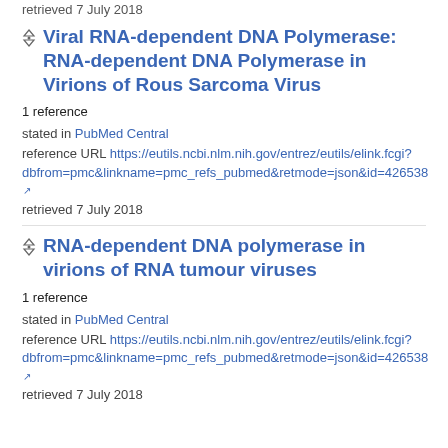retrieved 7 July 2018
Viral RNA-dependent DNA Polymerase: RNA-dependent DNA Polymerase in Virions of Rous Sarcoma Virus
1 reference
stated in PubMed Central
reference URL https://eutils.ncbi.nlm.nih.gov/entrez/eutils/elink.fcgi?dbfrom=pmc&linkname=pmc_refs_pubmed&retmode=json&id=426538
retrieved 7 July 2018
RNA-dependent DNA polymerase in virions of RNA tumour viruses
1 reference
stated in PubMed Central
reference URL https://eutils.ncbi.nlm.nih.gov/entrez/eutils/elink.fcgi?dbfrom=pmc&linkname=pmc_refs_pubmed&retmode=json&id=426538
retrieved 7 July 2018